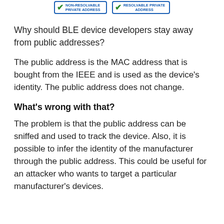[Figure (infographic): Two badge-style icons with green checkmarks. Left badge reads 'NON-RESOLVABLE PRIVATE ADDRESS', right badge reads 'RESOLVABLE PRIVATE ADDRESS', both with blue borders.]
Why should BLE device developers stay away from public addresses?
The public address is the MAC address that is bought from the IEEE and is used as the device's identity. The public address does not change.
What's wrong with that?
The problem is that the public address can be sniffed and used to track the device. Also, it is possible to infer the identity of the manufacturer through the public address. This could be useful for an attacker who wants to target a particular manufacturer's devices.